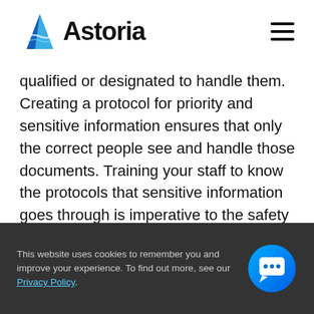[Figure (logo): Astoria company logo with stylized blue A icon and 'Astoria' text]
qualified or designated to handle them. Creating a protocol for priority and sensitive information ensures that only the correct people see and handle those documents. Training your staff to know the protocols that sensitive information goes through is imperative to the safety and security of those documents.
This website uses cookies to remember you and improve your experience. To find out more, see our Privacy Policy.